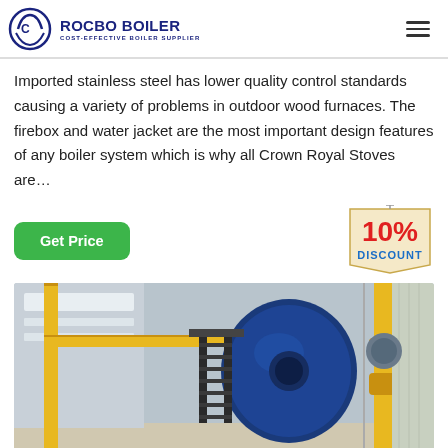[Figure (logo): Rocbo Boiler logo with circular C icon and text 'ROCBO BOILER / COST-EFFECTIVE BOILER SUPPLIER' in dark blue]
Imported stainless steel has lower quality control standards causing a variety of problems in outdoor wood furnaces. The firebox and water jacket are the most important design features of any boiler system which is why all Crown Royal Stoves are...
[Figure (infographic): 10% DISCOUNT badge/sticker in red and blue on rope-tied tag]
[Figure (photo): Industrial boiler facility showing large blue cylindrical boiler with yellow gas pipes and metal staircase access platform inside a factory building]